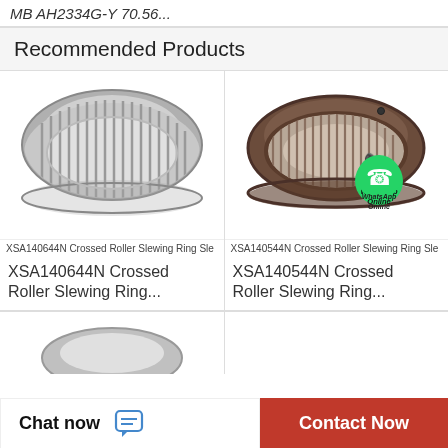MB AH2334G-Y 70.56...
Recommended Products
[Figure (photo): Photo of XSA140644N Crossed Roller Slewing Ring bearing, cylindrical needle roller bearing in silver/grey metallic finish]
XSA140644N Crossed Roller Slewing Ring Sle
XSA140644N Crossed Roller Slewing Ring...
[Figure (photo): Photo of XSA140544N Crossed Roller Slewing Ring bearing in dark brown/bronze metallic finish with WhatsApp Online overlay badge]
XSA140544N Crossed Roller Slewing Ring Sle
XSA140544N Crossed Roller Slewing Ring...
[Figure (photo): Partial photo of another bearing product at the bottom of the page]
Chat now  Contact Now